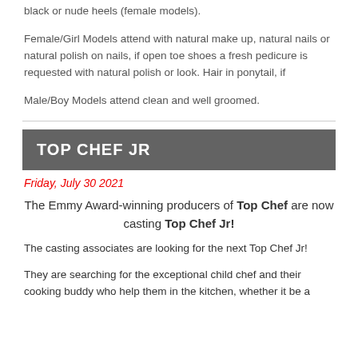black or nude heels (female models).
Female/Girl Models attend with natural make up, natural nails or natural polish on nails, if open toe shoes a fresh pedicure is requested with natural polish or look. Hair in ponytail, if
Male/Boy Models attend clean and well groomed.
TOP CHEF JR
Friday, July 30 2021
The Emmy Award-winning producers of Top Chef are now casting Top Chef Jr!
The casting associates are looking for the next Top Chef Jr!
They are searching for the exceptional child chef and their cooking buddy who help them in the kitchen, whether it be a